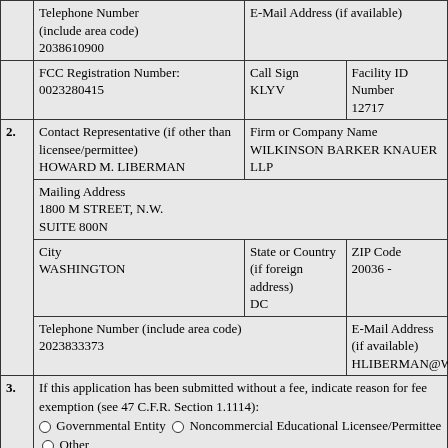| Telephone Number (include area code)
2038610900 | E-Mail Address (if available) |
| FCC Registration Number:
0023280415 | Call Sign
KLYV | Facility ID Number
12717 |
| 2. | Contact Representative (if other than licensee/permittee)
HOWARD M. LIBERMAN | Firm or Company Name
WILKINSON BARKER KNAUER LLP |
|  | Mailing Address
1800 M STREET, N.W.
SUITE 800N |  |
|  | City
WASHINGTON | State or Country (if foreign address)
DC | ZIP Code
20036 - |
|  | Telephone Number (include area code)
2023833373 | E-Mail Address (if available)
HLIBERMAN@WBKLAW.COM |
| 3. | If this application has been submitted without a fee, indicate reason for fee exemption (see 47 C.F.R. Section 1.1114):
Governmental Entity  Noncommercial Educational Licensee/Permittee  Other
N/A (Fee Required) |  |
| 4. | a. Voluntary Assignment or  Involuntary Assignment or Transfer of Transfer of Control Control |  |